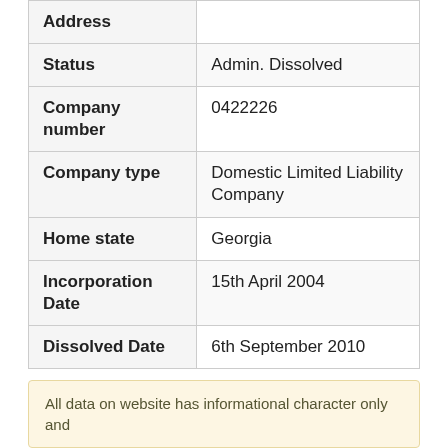| Field | Value |
| --- | --- |
| Address |  |
| Status | Admin. Dissolved |
| Company number | 0422226 |
| Company type | Domestic Limited Liability Company |
| Home state | Georgia |
| Incorporation Date | 15th April 2004 |
| Dissolved Date | 6th September 2010 |
All data on website has informational character only and